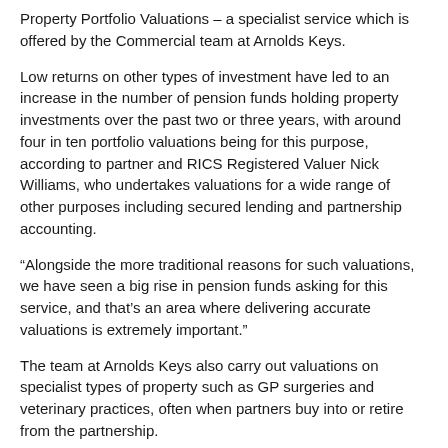Property Portfolio Valuations – a specialist service which is offered by the Commercial team at Arnolds Keys.
Low returns on other types of investment have led to an increase in the number of pension funds holding property investments over the past two or three years, with around four in ten portfolio valuations being for this purpose, according to partner and RICS Registered Valuer Nick Williams, who undertakes valuations for a wide range of other purposes including secured lending and partnership accounting.
“Alongside the more traditional reasons for such valuations, we have seen a big rise in pension funds asking for this service, and that’s an area where delivering accurate valuations is extremely important.”
The team at Arnolds Keys also carry out valuations on specialist types of property such as GP surgeries and veterinary practices, often when partners buy into or retire from the partnership.
Recent portfolio valuations include a collection of three office buildings in Norwich on behalf of a pension fund, and a bank-requested valuation of a portfolio of six buildings which resulted from a re-valuation of a number of business...